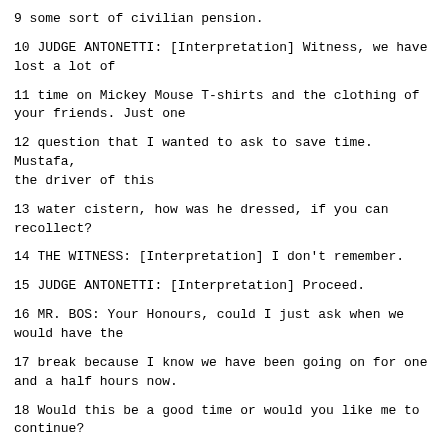9 some sort of civilian pension.
10 JUDGE ANTONETTI: [Interpretation] Witness, we have lost a lot of
11 time on Mickey Mouse T-shirts and the clothing of your friends. Just one
12 question that I wanted to ask to save time. Mustafa, the driver of this
13 water cistern, how was he dressed, if you can recollect?
14 THE WITNESS: [Interpretation] I don't remember.
15 JUDGE ANTONETTI: [Interpretation] Proceed.
16 MR. BOS: Your Honours, could I just ask when we would have the
17 break because I know we have been going on for one and a half hours now.
18 Would this be a good time or would you like me to continue?
19 JUDGE ANTONETTI: [Interpretation] Very well. I see the clock, and
20 we are going to take the break now. It's noon now,